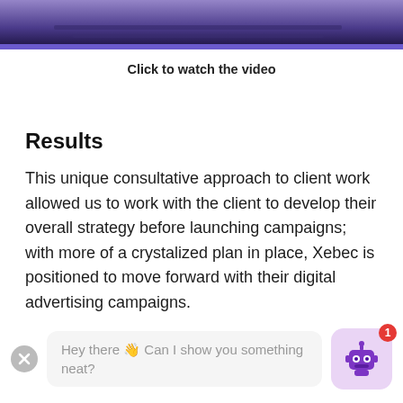[Figure (screenshot): Video thumbnail showing a dark purple/blue background, partially cropped at top]
Click to watch the video
Results
This unique consultative approach to client work allowed us to work with the client to develop their overall strategy before launching campaigns; with more of a crystalized plan in place, Xebec is positioned to move forward with their digital advertising campaigns.
[Figure (screenshot): Chat widget overlay showing a close button, a chat bubble with text 'Hey there 👋 Can I show you something neat?' and a purple robot icon with a red notification badge showing '1']